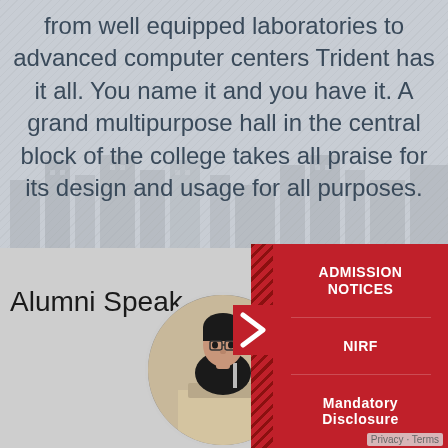from well equipped laboratories to advanced computer centers Trident has it all. You name it and you have it. A grand multipurpose hall in the central block of the college takes all praise for its design and usage for all purposes.
Alumni Speak
[Figure (photo): Circular portrait photo of a young man in a black t-shirt standing at a podium/lectern, speaking]
ADMISSION NOTICES
NIRF
Mandatory Disclosure
Privacy · Terms